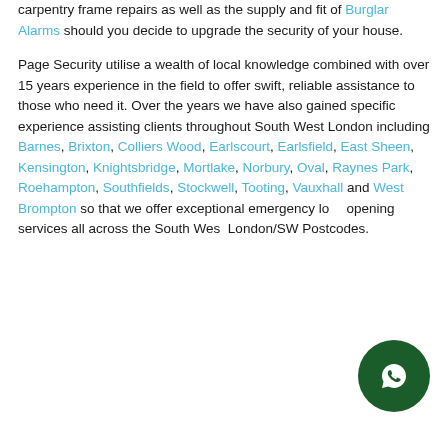carpentry frame repairs as well as the supply and fit of Burglar Alarms should you decide to upgrade the security of your house.
Page Security utilise a wealth of local knowledge combined with over 15 years experience in the field to offer swift, reliable assistance to those who need it. Over the years we have also gained specific experience assisting clients throughout South West London including Barnes, Brixton, Colliers Wood, Earlscourt, Earlsfield, East Sheen, Kensington, Knightsbridge, Mortlake, Norbury, Oval, Raynes Park, Roehampton, Southfields, Stockwell, Tooting, Vauxhall and West Brompton so that we offer exceptional emergency lock opening services all across the South West London/SW Postcodes.
[Figure (other): WhatsApp contact button (dark green circle with white WhatsApp logo)]